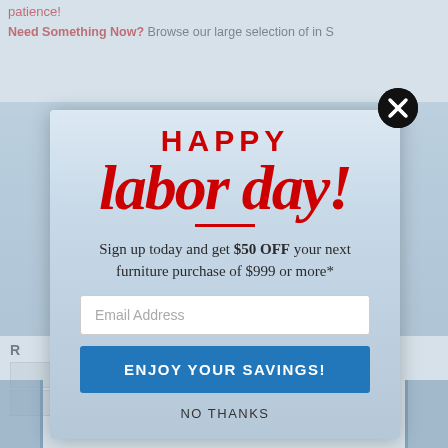patience!
Need Something Now? Browse our large selection of in S
[Figure (infographic): Labor Day promotional popup modal with city skyline background. Contains 'HAPPY labor day!' heading in red, offer text, email input field, 'ENJOY YOUR SAVINGS!' button, and 'NO THANKS' link. A black circular close button with X is in the top-right corner.]
HAPPY
labor day!
Sign up today and get $50 OFF your next furniture purchase of $999 or more*
Email Address
ENJOY YOUR SAVINGS!
NO THANKS